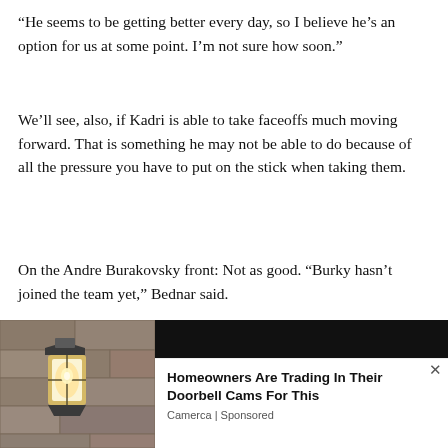“He seems to be getting better every day, so I believe he’s an option for us at some point. I’m not sure how soon.”
We’ll see, also, if Kadri is able to take faceoffs much moving forward. That is something he may not be able to do because of all the pressure you have to put on the stick when taking them.
On the Andre Burakovsky front: Not as good. “Burky hasn’t joined the team yet,” Bednar said.
Burakovsky did not travel to Tampa Monday, as the Avalanche had hoped.
[Figure (advertisement): Ad banner: photo of an outdoor wall lantern on the left, with text 'Homeowners Are Trading In Their Doorbell Cams For This' by Camerca | Sponsored on the right, and a close button (x).]